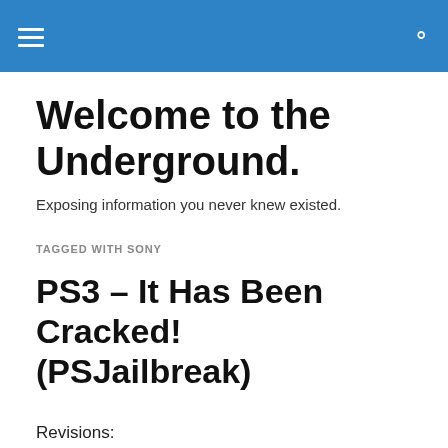Welcome to the Underground.
Exposing information you never knew existed.
TAGGED WITH SONY
PS3 – It Has Been Cracked! (PSJailbreak)
Revisions: